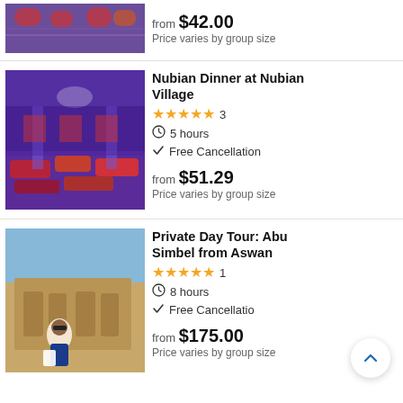[Figure (photo): Top partial image of a colorful Nubian-style interior with patterned textiles, partially cropped at top]
from $42.00
Price varies by group size
[Figure (photo): Interior of Nubian village dinner venue with purple lighting, colorful cushions and rugs on the floor]
Nubian Dinner at Nubian Village
★★★★★ 3
⏱ 5 hours
✓ Free Cancellation
from $51.29
Price varies by group size
[Figure (photo): Woman tourist sitting in front of Abu Simbel temple rock carvings in Egypt]
Private Day Tour: Abu Simbel from Aswan
★★★★★ 1
⏱ 8 hours
✓ Free Cancellation
from $175.00
Price varies by group size